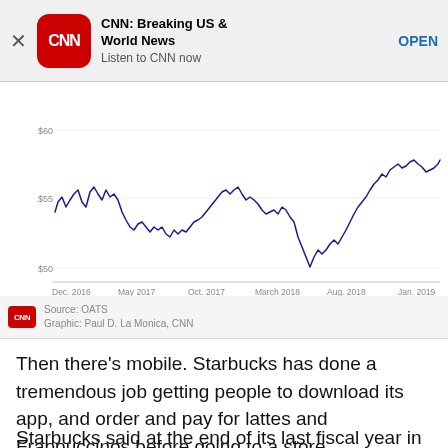[Figure (screenshot): CNN app advertisement banner with CNN logo, title 'CNN: Breaking US & World News', subtitle 'Listen to CNN now', and an OPEN button]
[Figure (continuous-plot): Stock price line chart showing price fluctuations from Dec 2016 to Jan 2019, with y-axis values around $50, $55, $60. Dark navy blue line on white background with x-axis labels: Dec 2016, May 2017, Oct 2017, March 2018, Aug 2018, Jan 2019.]
Source: OATS
Graphic: Paul D. La Monica, CNN
Then there’s mobile. Starbucks has done a tremendous job getting people to download its app, and order and pay for lattes and Frappuccinos before going to a store.
Starbucks said at the end of its last fiscal year in November that 14% of its US transactions were done